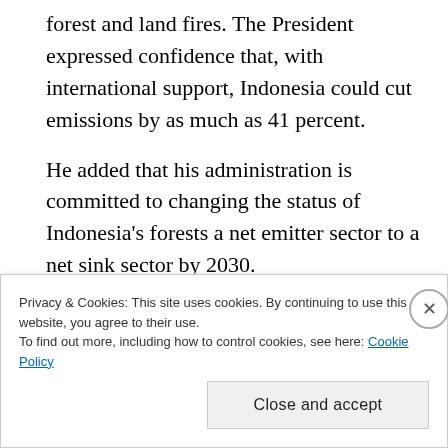forest and land fires. The President expressed confidence that, with international support, Indonesia could cut emissions by as much as 41 percent.
He added that his administration is committed to changing the status of Indonesia's forests a net emitter sector to a net sink sector by 2030.
Although this is encouraging to hear from the leader of one of the largest developing nations, it also raises many questions.
Privacy & Cookies: This site uses cookies. By continuing to use this website, you agree to their use.
To find out more, including how to control cookies, see here: Cookie Policy
Close and accept